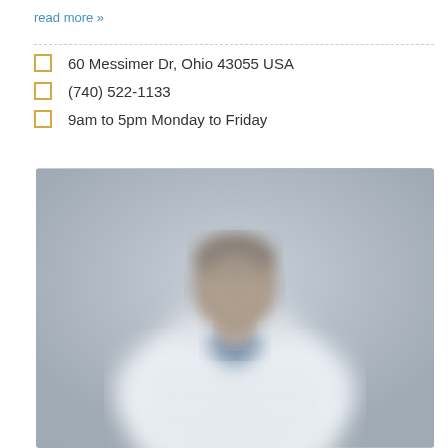read more »
60 Messimer Dr, Ohio 43055 USA
(740) 522-1133
9am to 5pm Monday to Friday
[Figure (photo): Blurred photo of a man in a white doctor's coat against a light gray background]